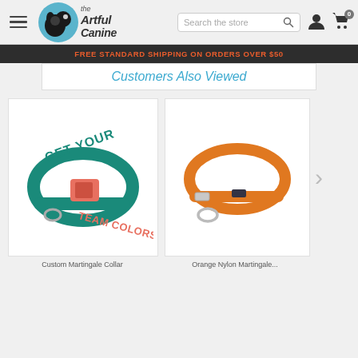The Artful Canine - Search the store - Navigation header
FREE STANDARD SHIPPING ON ORDERS OVER $50
Customers Also Viewed
[Figure (photo): Teal/green martingale dog collar with coral buckle, with text overlay 'GET YOUR TEAM COLORS!']
[Figure (photo): Orange nylon martingale dog collar with silver hardware on white background]
Custom Martingale Collar
Orange Nylon Martingale...